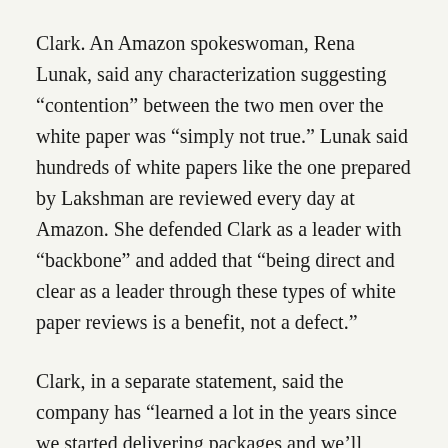Clark. An Amazon spokeswoman, Rena Lunak, said any characterization suggesting “contention” between the two men over the white paper was “simply not true.” Lunak said hundreds of white papers like the one prepared by Lakshman are reviewed every day at Amazon. She defended Clark as a leader with “backbone” and added that “being direct and clear as a leader through these types of white paper reviews is a benefit, not a defect.”
Clark, in a separate statement, said the company has “learned a lot in the years since we started delivering packages and we’ll continue to learn more… We’ve always had a focus on safety and